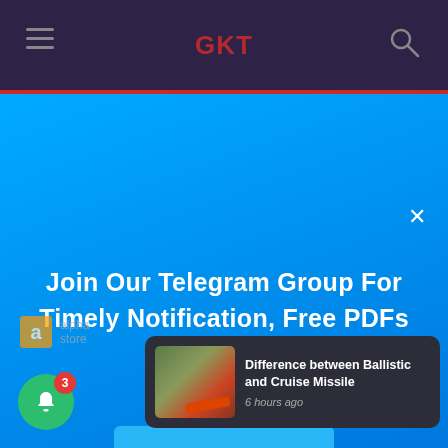[Figure (screenshot): Website top navigation bar with hamburger menu icon on left, red logo text in center, and search icon on right, on dark purple background]
[Figure (screenshot): Blue popup modal overlay with white bold text and a lighter blue CLICK HERE button]
Join Our Telegram Group For Timely Notification, Free PDFs & Lot More
CLICK HERE
[Figure (screenshot): Notification toast card at bottom right showing missile image and article title 'Difference between Ballistic and Cruise Missile' with timestamp '6 hours ago']
Difference between Ballistic and Cruise Missile
6 hours ago